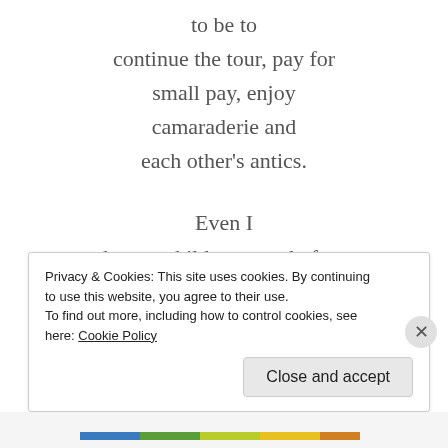to be to
continue the tour, pay for
small pay, enjoy
camaraderie and
each other's antics.

Even I
have a child now, and often
wonder what's
going on up there.
How are you old friend?
Privacy & Cookies: This site uses cookies. By continuing to use this website, you agree to their use.
To find out more, including how to control cookies, see here: Cookie Policy
Close and accept